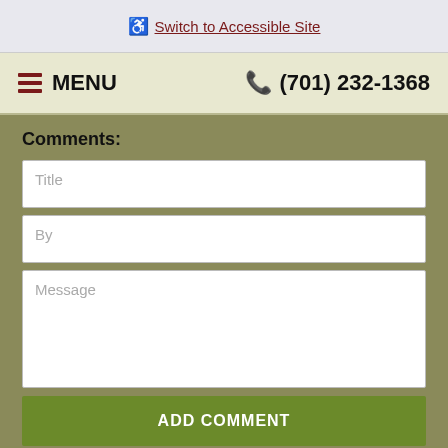♿ Switch to Accessible Site
≡ MENU   ☎ (701) 232-1368
Comments:
Title
By
Message
ADD COMMENT